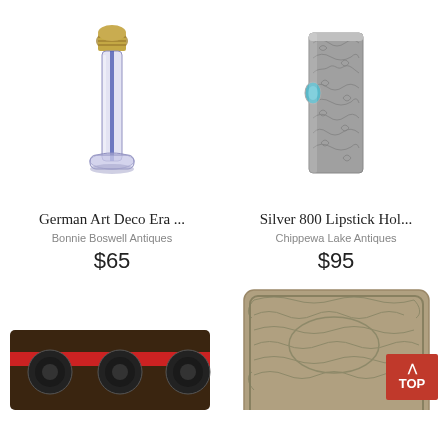[Figure (photo): German Art Deco era glass perfume bottle with brass screw cap, clear/blue tinted cylindrical body]
German Art Deco Era ...
Bonnie Boswell Antiques
$65
[Figure (photo): Silver 800 lipstick holder with ornate engraved floral scrollwork and turquoise blue oval accent]
Silver 800 Lipstick Hol...
Chippewa Lake Antiques
$95
[Figure (photo): Bottom left antique item partially visible - dark colored item with red stripe]
[Figure (photo): Bottom right antique silver ornate item partially visible]